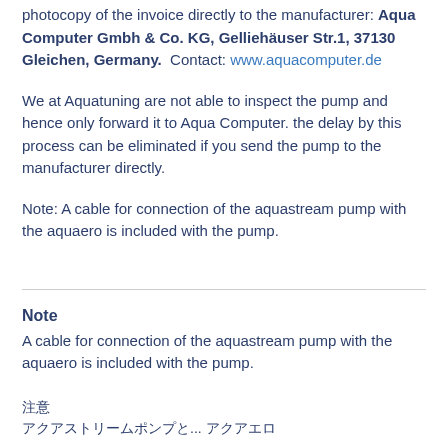photocopy of the invoice directly to the manufacturer: Aqua Computer Gmbh & Co. KG, Gelliehäuser Str.1, 37130 Gleichen, Germany.  Contact: www.aquacomputer.de
We at Aquatuning are not able to inspect the pump and hence only forward it to Aqua Computer. the delay by this process can be eliminated if you send the pump to the manufacturer directly.
Note: A cable for connection of the aquastream pump with the aquaero is included with the pump.
Note
A cable for connection of the aquastream pump with the aquaero is included with the pump.
注意
アクアストリームポンプと... アクアエロ